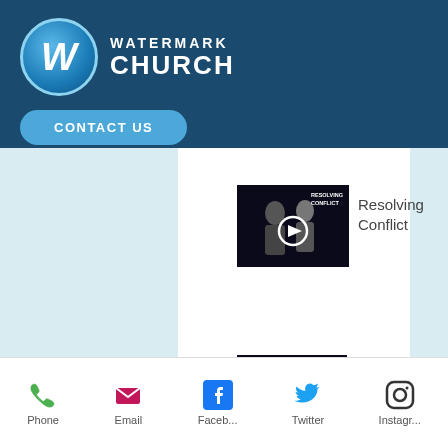[Figure (logo): Watermark Church logo with W emblem in circle and text WATERMARK CHURCH]
[Figure (screenshot): Website header with CONTACT US button and hamburger menu on dark blue background]
[Figure (thumbnail): Resolving Conflict video thumbnail with play button]
Resolving Conflict
[Figure (thumbnail): Living a Life of Service thumbnail with yellow bars on sides]
Living a Life of Service
[Figure (infographic): Bottom navigation bar with Phone, Email, Faceb..., Twitter, Instagr... icons]